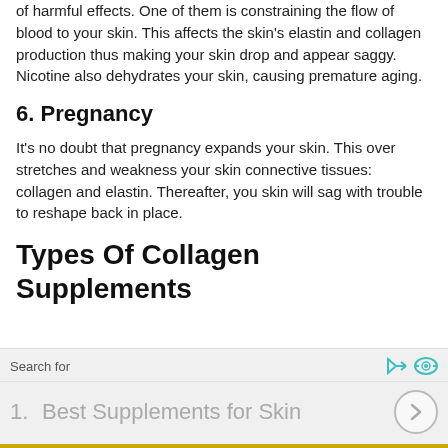of harmful effects. One of them is constraining the flow of blood to your skin. This affects the skin's elastin and collagen production thus making your skin drop and appear saggy. Nicotine also dehydrates your skin, causing premature aging.
6. Pregnancy
It's no doubt that pregnancy expands your skin. This over stretches and weakness your skin connective tissues: collagen and elastin. Thereafter, you skin will sag with trouble to reshape back in place.
Types Of Collagen Supplements
[Figure (other): Advertisement search widget showing 'Search for' label with icons, and a list item '1. Best Supplements for Skin' with a chevron arrow button]